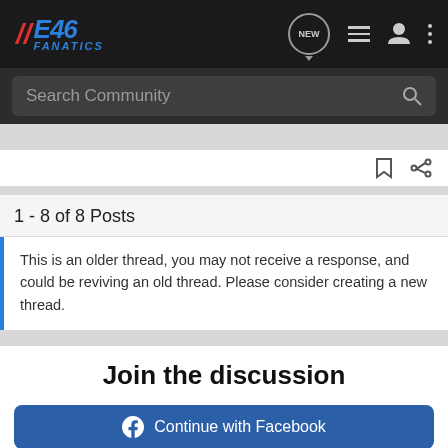E46 Fanatics - Search Community
1 - 8 of 8 Posts
This is an older thread, you may not receive a response, and could be reviving an old thread. Please consider creating a new thread.
Join the discussion
Continue with Facebook
[Figure (screenshot): Optima Batteries advertisement banner with blue gradient background]